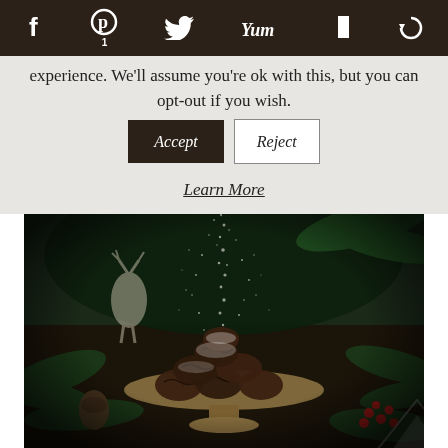Social sharing bar with icons: Facebook, Pinterest (1), Twitter, Yum, Flipboard, Circle
experience. We'll assume you're ok with this, but you can opt-out if you wish.
Accept | Reject
Learn More
[Figure (photo): Dark moody food photograph of chocolate crinkle cookies piled on a gold/brass plate, with powdered sugar being sifted from above, surrounded by Christmas/holiday decorations including pine branches, pine cones, and red berries on a dark wooden surface.]